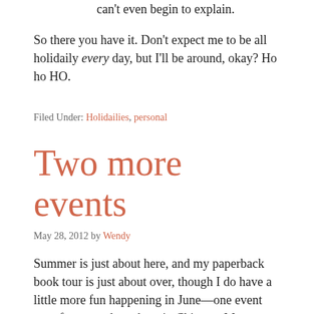can't even begin to explain.
So there you have it. Don't expect me to be all holidaily every day, but I'll be around, okay? Ho ho HO.
Filed Under: Holidailies, personal
Two more events
May 28, 2012 by Wendy
Summer is just about here, and my paperback book tour is just about over, though I do have a little more fun happening in June—one event out of town and one here in Chicago. More on those to come, all for the 11 of you.